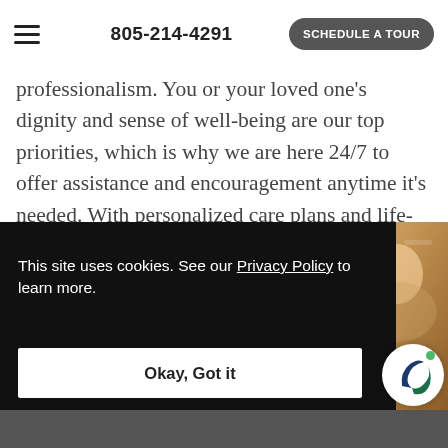805-214-4291   SCHEDULE A TOUR
professionalism. You or your loved one’s dignity and sense of well-being are our top priorities, which is why we are here 24/7 to offer assistance and encouragement anytime it’s needed. With personalized care plans and life-enhancing amenities, we help residents live life their way.
This site uses cookies. See our Privacy Policy to learn more.
Okay, Got it
[Figure (photo): Elderly women in colorful attire, partially visible on the right side]
[Figure (logo): Circular logo with a leaf/plant icon in teal/navy and a green dot]